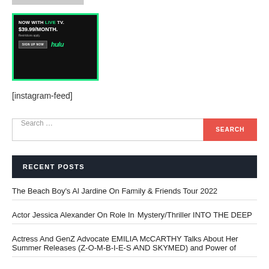[Figure (screenshot): Gray placeholder bar at top]
[Figure (screenshot): Hulu advertisement banner: NOW WITH LIVE TV. $39.99/MONTH. Restrictions apply. SIGN UP NOW. hulu logo. Black background with green border.]
[instagram-feed]
Search ...
RECENT POSTS
The Beach Boy's Al Jardine On Family & Friends Tour 2022
Actor Jessica Alexander On Role In Mystery/Thriller INTO THE DEEP
Actress And GenZ Advocate EMILIA McCARTHY Talks About Her Summer Releases (Z-O-M-B-I-E-S AND SKYMED) and Power of